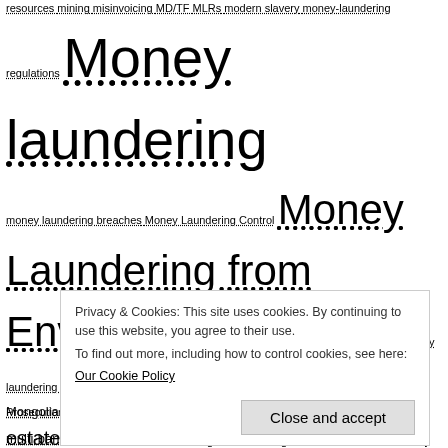resources mining misinvoicing MD/TF MLRs modern slavery money-laundering regulations Money laundering money laundering breaches Money Laundering Control Money Laundering from Environmental Crime money laundering transaction money transfer guidelines MONEYVAL Mongolia monitoring systems Montenegro Morocco MoU Mozambique multi-banking trade finance solutions MVTS NALDC Namibia Nasdaq Nasdaq Automated Investigator National Board of Revenue (NBR) National Risk Assessment NATO natural resources NBFIs NCA negative news screening Netherland New Zealand NFT NGO Nigeria NNS non-financial business North America North Korea North Macedonia NRA OAS/DTOC OCCRP OCR OECD OFAC offshore OFSI Oil oligarchs OPBAS Organisation for Economic Cooperation and Development organised
Privacy & Cookies: This site uses cookies. By continuing to use this website, you agree to their use.
To find out more, including how to control cookies, see here:
Our Cookie Policy
Close and accept
Prosecution Qatar R25 rade-Based Anti-Money Laundering Rani's Voice RCMP real estate Recommendation 25 Red Flag Indicators RegTech regulations report